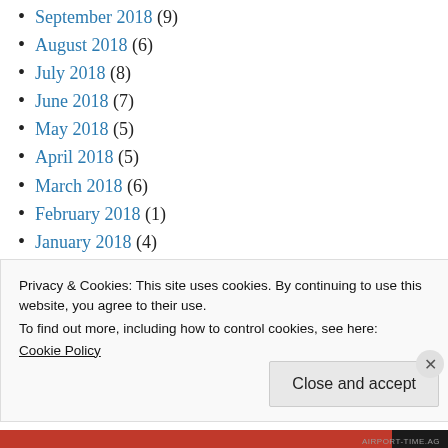September 2018 (9)
August 2018 (6)
July 2018 (8)
June 2018 (7)
May 2018 (5)
April 2018 (5)
March 2018 (6)
February 2018 (1)
January 2018 (4)
December 2017 (4)
November 2017 (3)
Privacy & Cookies: This site uses cookies. By continuing to use this website, you agree to their use. To find out more, including how to control cookies, see here: Cookie Policy
Close and accept